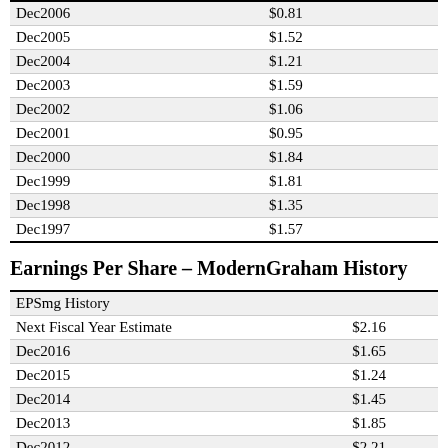| Period | Value |
| --- | --- |
| Dec2006 | $0.81 |
| Dec2005 | $1.52 |
| Dec2004 | $1.21 |
| Dec2003 | $1.59 |
| Dec2002 | $1.06 |
| Dec2001 | $0.95 |
| Dec2000 | $1.84 |
| Dec1999 | $1.81 |
| Dec1998 | $1.35 |
| Dec1997 | $1.57 |
Earnings Per Share – ModernGraham History
| EPSmg History |  |
| --- | --- |
| Next Fiscal Year Estimate | $2.16 |
| Dec2016 | $1.65 |
| Dec2015 | $1.24 |
| Dec2014 | $1.45 |
| Dec2013 | $1.85 |
| Dec2012 | $2.21 |
| Dec2011 | $2.69 |
| Dec2010 | $2.74 |
| Dec2009 | $2.91 |